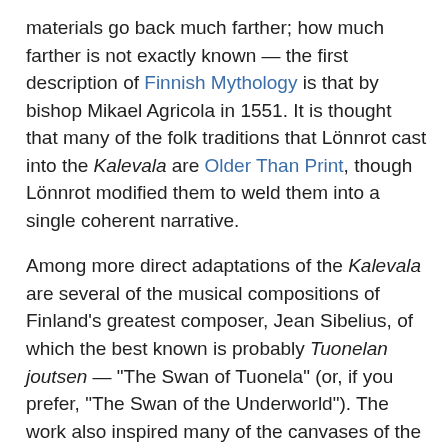materials go back much farther; how much farther is not exactly known — the first description of Finnish Mythology is that by bishop Mikael Agricola in 1551. It is thought that many of the folk traditions that Lönnrot cast into the Kalevala are Older Than Print, though Lönnrot modified them to weld them into a single coherent narrative.
Among more direct adaptations of the Kalevala are several of the musical compositions of Finland's greatest composer, Jean Sibelius, of which the best known is probably Tuonelan joutsen — "The Swan of Tuonela" (or, if you prefer, "The Swan of the Underworld"). The work also inspired many of the canvases of the painter Akseli Gallen-Kallela, including Sammon puolustus, "The Defence of the Sampo", used above as the page image. Less happily, though more hilariously, it was made into the joint Finnish/Russian film Sampo, AKA The Day the Earth Froze, featured on Mystery Science Theater 3000.